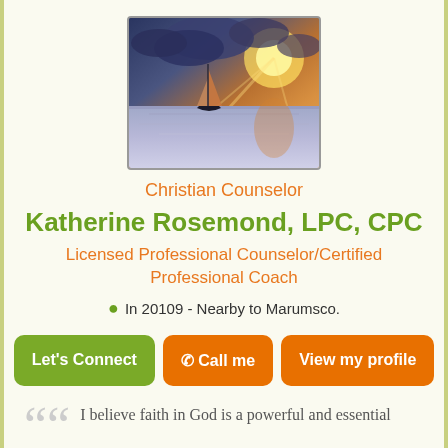[Figure (photo): Sailboat on calm water at sunset with dramatic cloudy sky, orange and purple tones]
Christian Counselor
Katherine Rosemond, LPC, CPC
Licensed Professional Counselor/Certified Professional Coach
In 20109 - Nearby to Marumsco.
Let's Connect | Call me | View my profile
I believe faith in God is a powerful and essential